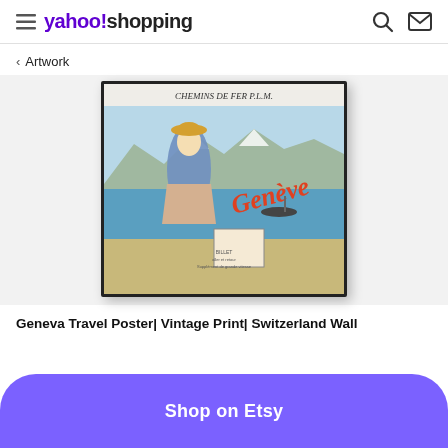yahoo!shopping
< Artwork
[Figure (photo): Framed vintage travel poster for Geneva (Geneve) showing a woman in period dress by a lake with mountains, text 'CHEMINS DE FER P.L.M.' and 'GENEVE', leaning against a white wall.]
Geneva Travel Poster| Vintage Print| Switzerland Wall
Shop on Etsy